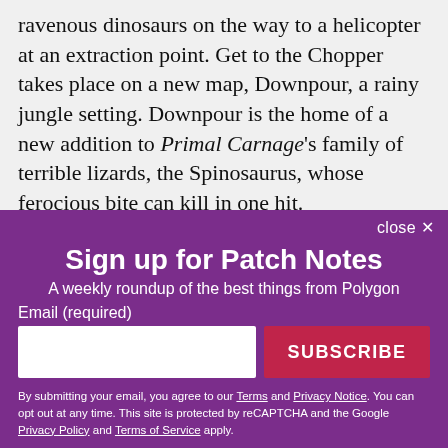ravenous dinosaurs on the way to a helicopter at an extraction point. Get to the Chopper takes place on a new map, Downpour, a rainy jungle setting. Downpour is the home of a new addition to Primal Carnage's family of terrible lizards, the Spinosaurus, whose ferocious bite can kill in one hit.
Sign up for Patch Notes
A weekly roundup of the best things from Polygon
Email (required)
SUBSCRIBE
By submitting your email, you agree to our Terms and Privacy Notice. You can opt out at any time. This site is protected by reCAPTCHA and the Google Privacy Policy and Terms of Service apply.